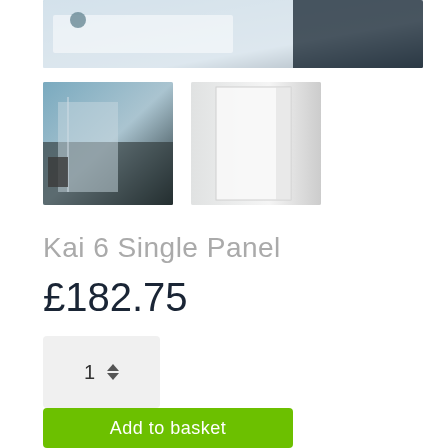[Figure (photo): Top cropped photo of a bathroom product, showing white bath panel and tiled background]
[Figure (photo): Thumbnail showing bathroom with shower panel installed in a room]
[Figure (photo): Thumbnail showing single white bath panel product]
Kai 6 Single Panel
£182.75
1 (quantity spinner)
— OR —
Add to basket